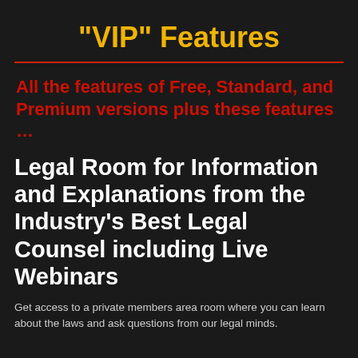"VIP" Features
All the features of Free, Standard, and Premium versions plus these features …
Legal Room for Information and Explanations from the Industry's Best Legal Counsel including Live Webinars
Get access to a private members area room where you can learn about the laws and ask questions from our legal minds.